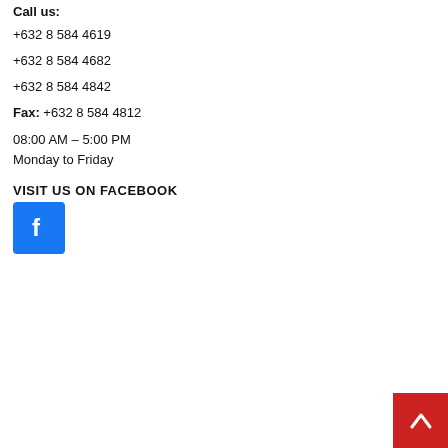Call us:
+632 8 584 4619
+632 8 584 4682
+632 8 584 4842
Fax: +632 8 584 4812
08:00 AM – 5:00 PM
Monday to Friday
VISIT US ON FACEBOOK
[Figure (logo): Facebook logo icon — white 'f' on blue square background]